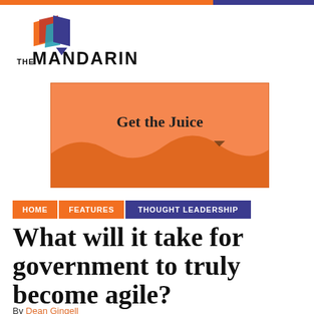[Figure (logo): The Mandarin logo with geometric diamond shapes in orange, red, teal and purple, and text 'THE MANDARIN']
[Figure (illustration): Orange advertisement banner with wavy hills design and text 'Get the Juice']
HOME  FEATURES  THOUGHT LEADERSHIP
What will it take for government to truly become agile?
By Dean Gingell